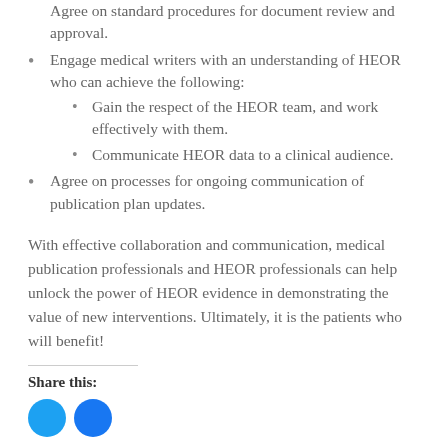Agree on standard procedures for document review and approval.
Engage medical writers with an understanding of HEOR who can achieve the following:
Gain the respect of the HEOR team, and work effectively with them.
Communicate HEOR data to a clinical audience.
Agree on processes for ongoing communication of publication plan updates.
With effective collaboration and communication, medical publication professionals and HEOR professionals can help unlock the power of HEOR evidence in demonstrating the value of new interventions. Ultimately, it is the patients who will benefit!
Share this: